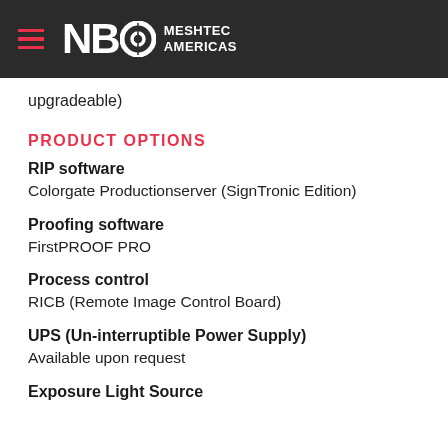NBC MESHTEC AMERICAS
upgradeable)
PRODUCT OPTIONS
RIP software
Colorgate Productionserver (SignTronic Edition)
Proofing software
FirstPROOF PRO
Process control
RICB (Remote Image Control Board)
UPS (Un-interruptible Power Supply)
Available upon request
Exposure Light Source